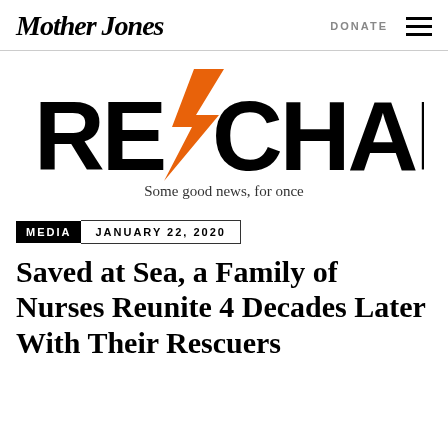Mother Jones | DONATE ≡
[Figure (logo): RE/CHARGE logo with orange lightning bolt replacing the slash between RE and CHARGE, large bold black uppercase text]
Some good news, for once
MEDIA  JANUARY 22, 2020
Saved at Sea, a Family of Nurses Reunite 4 Decades Later With Their Rescuers